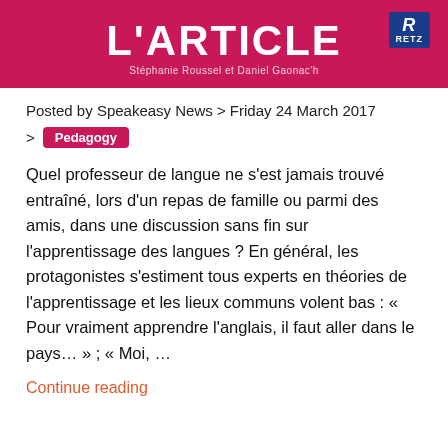[Figure (illustration): Magenta/pink banner with partial book title text 'L'ARTICLE' (partially cut off at top), subtitle 'Stéphanie Roussel et Daniel Gaonac'h', and RETZ publisher logo in top right corner]
Posted by Speakeasy News > Friday 24 March 2017
> Pedagogy
Quel professeur de langue ne s'est jamais trouvé entraîné, lors d'un repas de famille ou parmi des amis, dans une discussion sans fin sur l'apprentissage des langues ? En général, les protagonistes s'estiment tous experts en théories de l'apprentissage et les lieux communs volent bas : « Pour vraiment apprendre l'anglais, il faut aller dans le pays… » ; « Moi, …
Continue reading